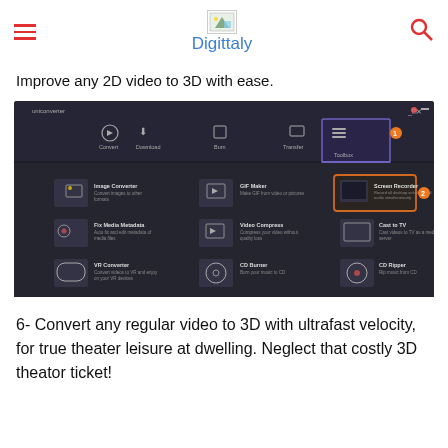Digittaly
Improve any 2D video to 3D with ease.
[Figure (screenshot): Screenshot of a video converter application (UniConverter) showing the Toolbox tab with tools: Image Converter, GIF Maker, Screen Recorder (highlighted with orange border), Fix Media Metadata, Video Compress, Cast to TV, VR Converter, CD Burner, CD Ripper.]
6- Convert any regular video to 3D with ultrafast velocity, for true theater leisure at dwelling. Neglect that costly 3D theator ticket!